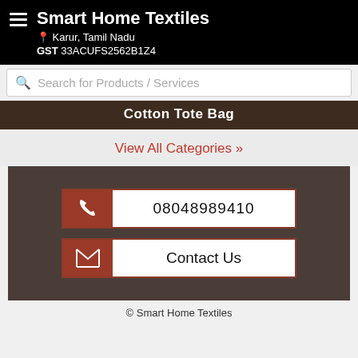Smart Home Textiles — Karur, Tamil Nadu — GST 33ACUFS2562B1Z4
Search for Products / Services
Cotton Tote Bag
View All Categories »
[Figure (infographic): Contact section with phone number 08048989410 and Contact Us button on dark brown background]
© Smart Home Textiles